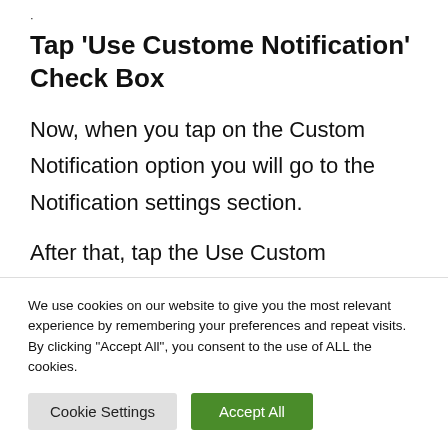Tap ‘Use Custome Notification’ Check Box
Now, when you tap on the Custom Notification option you will go to the Notification settings section.
After that, tap the Use Custom Notification
We use cookies on our website to give you the most relevant experience by remembering your preferences and repeat visits. By clicking “Accept All”, you consent to the use of ALL the cookies.